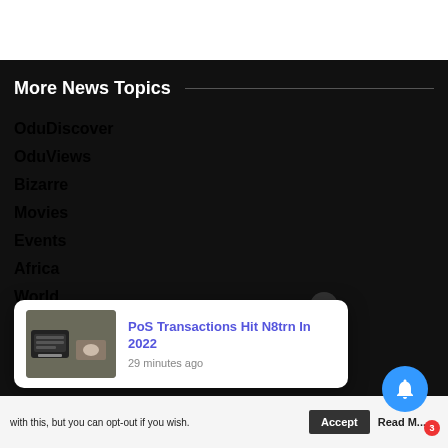More News Topics
OduDiscover
OduViews
Bizarre
Movies
Events
Africa
World
[Figure (screenshot): Notification popup card showing article: PoS Transactions Hit N8trn In 2022, 29 minutes ago, with a POS terminal image]
with this, but you can opt-out if you wish.
Accept
Read M...